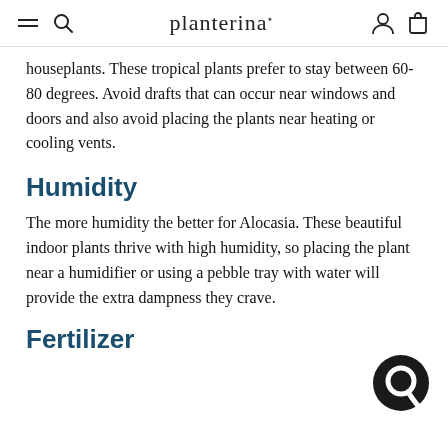planterina
houseplants. These tropical plants prefer to stay between 60-80 degrees. Avoid drafts that can occur near windows and doors and also avoid placing the plants near heating or cooling vents.
Humidity
The more humidity the better for Alocasia. These beautiful indoor plants thrive with high humidity, so placing the plant near a humidifier or using a pebble tray with water will provide the extra dampness they crave.
Fertilizer